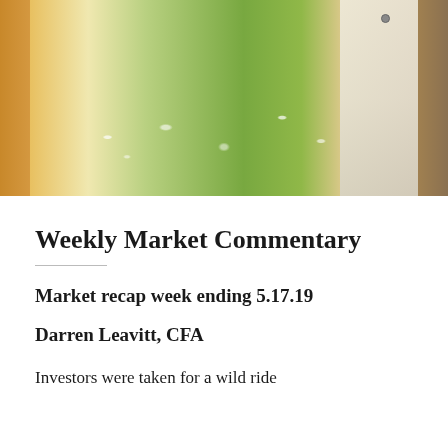[Figure (photo): Outdoor photo showing a person wearing a white/cream jacket and brown trousers, set against a green grass background with bokeh white flowers/lights. Left side shows a warm yellow/orange textured fabric or curtain.]
Weekly Market Commentary
Market recap week ending 5.17.19
Darren Leavitt, CFA
Investors were taken for a wild ride